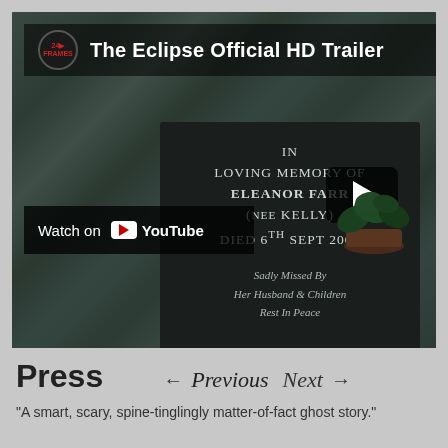[Figure (screenshot): YouTube video thumbnail for 'The Eclipse Official HD Trailer' showing a gravestone plaque reading 'IN LOVING MEMORY OF ELEANOR FARR (NEE KELLY) DIED 6TH SEPT 2006 Sadly Missed by Her Husband & Children Rest In Peace' set against a stone wall. Includes a play button and 'Watch on YouTube' overlay.]
Press   ← Previous   Next →
"A smart, scary, spine-tinglingly matter-of-fact ghost story."